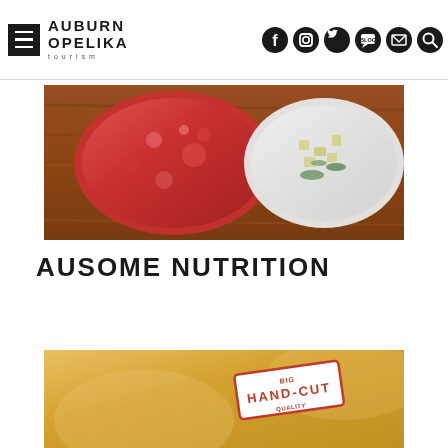Auburn Opelika Tourism
[Figure (photo): Overhead view of two drinks on a wooden surface — a red berry smoothie/drink in a plastic cup on the left, and a white yogurt bowl with toppings on the right]
AUSOME NUTRITION
[Figure (photo): Close-up of a hand-cut label on a golden/yellow food item background, with red text reading HAND-CUT]